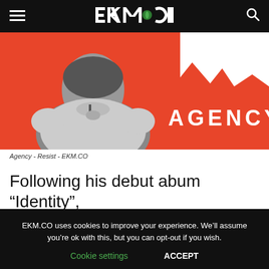EKM.CO
[Figure (photo): Black and white photo of a child from behind wearing an embroidered top, against an orange/red background with the word AGENCY in white bold text on the right side. A white comic speech bubble shape is partially visible at the top right.]
Agency - Resist - EKM.CO
Following his debut abum “Identity”, Agency is back with 11 new
EKM.CO uses cookies to improve your experience. We’ll assume you’re ok with this, but you can opt-out if you wish.
Cookie settings   ACCEPT